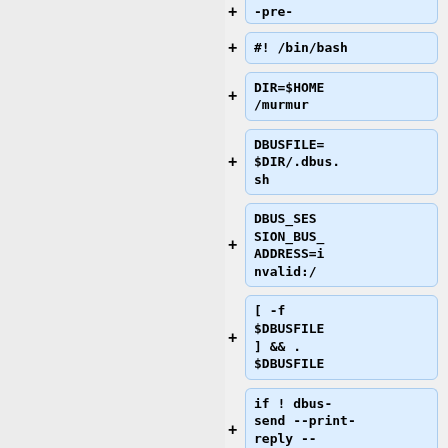-pre-
#! /bin/bash
DIR=$HOME/murmur
DBUSFILE=$DIR/.dbus.sh
DBUS_SESSION_BUS_ADDRESS=invalid:/
[ -f $DBUSFILE ] && . $DBUSFILE
if ! dbus-send --print-reply --dest=org.fre